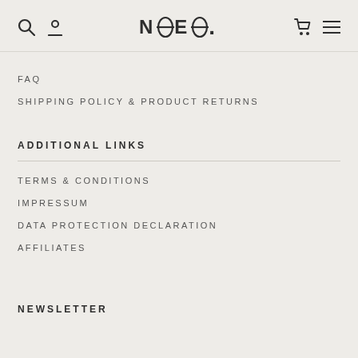NOEO.
FAQ
SHIPPING POLICY & PRODUCT RETURNS
ADDITIONAL LINKS
TERMS & CONDITIONS
IMPRESSUM
DATA PROTECTION DECLARATION
AFFILIATES
NEWSLETTER